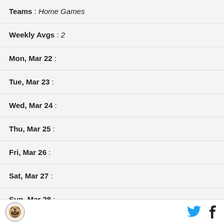Teams : Home Games
Weekly Avgs : 2
Mon, Mar 22 :
Tue, Mar 23 :
Wed, Mar 24 :
Thu, Mar 25 :
Fri, Mar 26 :
Sat, Mar 27 :
Sun, Mar 28 :
Teams : Away Games
Weekly Avgs : 2
[Figure (logo): Sports league circular logo with bear/animal illustration]
[Figure (logo): Twitter bird icon in cyan]
[Figure (logo): Facebook f icon in dark blue/black]